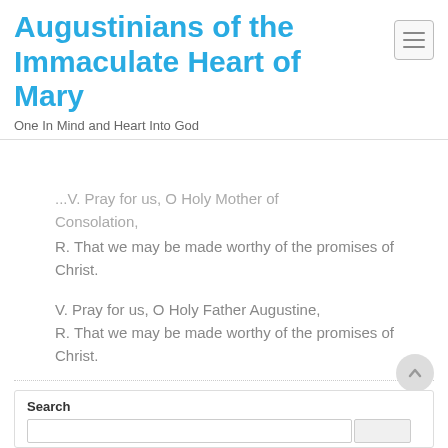Augustinians of the Immaculate Heart of Mary
One In Mind and Heart Into God
...V. Pray for us, O Holy Mother of Consolation,
R. That we may be made worthy of the promises of Christ.
V. Pray for us, O Holy Father Augustine,
R. That we may be made worthy of the promises of Christ.
Search